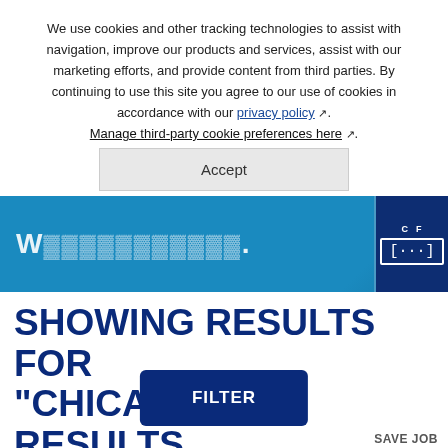We use cookies and other tracking technologies to assist with navigation, improve our products and services, assist with our marketing efforts, and provide content from third parties. By continuing to use this site you agree to our use of cookies in accordance with our privacy policy. Manage third-party cookie preferences here.
[Figure (screenshot): Cookie accept button overlay on blue banner website header]
SHOWING RESULTS FOR "CHICAGO" - 35 RESULTS
FILTER
SAVE JOB